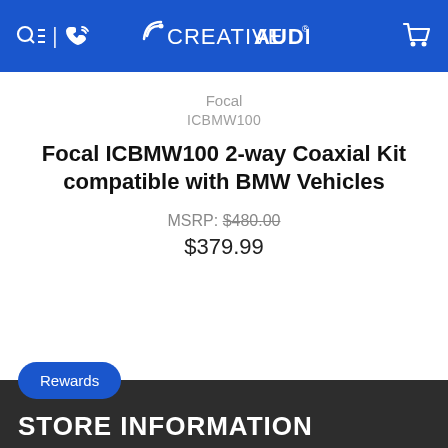Creative Audio
Focal
ICBMW100
Focal ICBMW100 2-way Coaxial Kit compatible with BMW Vehicles
MSRP: $480.00
$379.99
Rewards
STORE INFORMATION